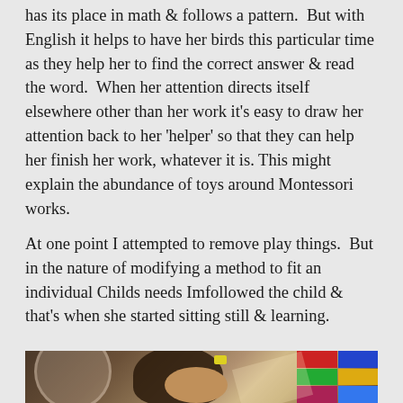has its place in math & follows a pattern.  But with English it helps to have her birds this particular time as they help her to find the correct answer & read the word.  When her attention directs itself elsewhere other than her work it's easy to draw her attention back to her 'helper' so that they can help her finish her work, whatever it is. This might explain the abundance of toys around Montessori works.
At one point I attempted to remove play things.  But in the nature of modifying a method to fit an individual Childs needs Imfollowed the child & that's when she started sitting still & learning.
[Figure (photo): A young girl with dark hair and a yellow hair clip, leaning forward over her work, photographed from above/side angle. Colorful toy blocks visible in the upper right corner.]